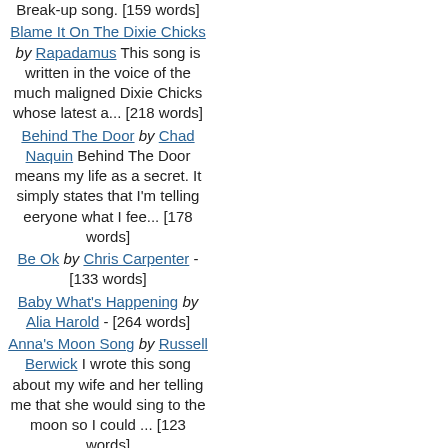Break-up song. [159 words]
Blame It On The Dixie Chicks by Rapadamus This song is written in the voice of the much maligned Dixie Chicks whose latest a... [218 words]
Behind The Door by Chad Naquin Behind The Door means my life as a secret. It simply states that I'm telling eeryone what I fee... [178 words]
Be Ok by Chris Carpenter - [133 words]
Baby What's Happening by Alia Harold - [264 words]
Anna's Moon Song by Russell Berwick I wrote this song about my wife and her telling me that she would sing to the moon so I could ... [123 words]
All In by Smuckers Well...it's NOT a love